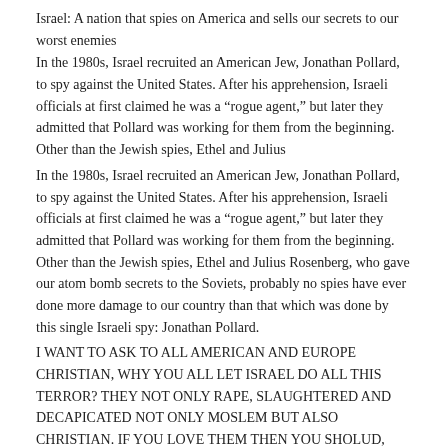Israel: A nation that spies on America and sells our secrets to our worst enemies
In the 1980s, Israel recruited an American Jew, Jonathan Pollard, to spy against the United States. After his apprehension, Israeli officials at first claimed he was a “rogue agent,” but later they admitted that Pollard was working for them from the beginning. Other than the Jewish spies, Ethel and Julius
In the 1980s, Israel recruited an American Jew, Jonathan Pollard, to spy against the United States. After his apprehension, Israeli officials at first claimed he was a “rogue agent,” but later they admitted that Pollard was working for them from the beginning. Other than the Jewish spies, Ethel and Julius Rosenberg, who gave our atom bomb secrets to the Soviets, probably no spies have ever done more damage to our country than that which was done by this single Israeli spy: Jonathan Pollard.
I WANT TO ASK TO ALL AMERICAN AND EUROPE CHRISTIAN, WHY YOU ALL LET ISRAEL DO ALL THIS TERROR? THEY NOT ONLY RAPE, SLAUGHTERED AND DECAPICATED NOT ONLY MOSLEM BUT ALSO CHRISTIAN. IF YOU LOVE THEM THEN YOU SHOLUD, FROM TODAY, STOP DEFEND ISRAEL THE BUTCHER OF MOSLEM AND CHRISTIAN AND START FIGHT THEM. THAT IF YOU STILL HAVE A HEART.
Posted by: JOHN SMITH | July 09, 2009 at 07:48 PM